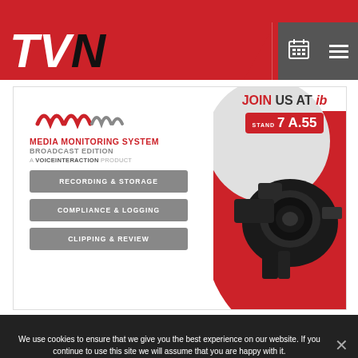TVN - Select Language
[Figure (screenshot): TVN website header with red background, TVN logo in italic bold white/black text, calendar and menu icons on right side, Google Translate language selector at top]
[Figure (infographic): Media Monitoring System Broadcast Edition advertisement banner. Red and white layout with MMS logo (red wave marks), camera photo, features listed: RECORDING & STORAGE, COMPLIANCE & LOGGING, CLIPPING & REVIEW. Right side shows JOIN US AT IB stand 7A.55 in red circle/gray circle design.]
We use cookies to ensure that we give you the best experience on our website. If you continue to use this site we will assume that you are happy with it.
[Figure (infographic): Social media share bar at bottom with Facebook (blue), Twitter (light blue), LinkedIn (dark blue), and email/newsletter (gray) icons]